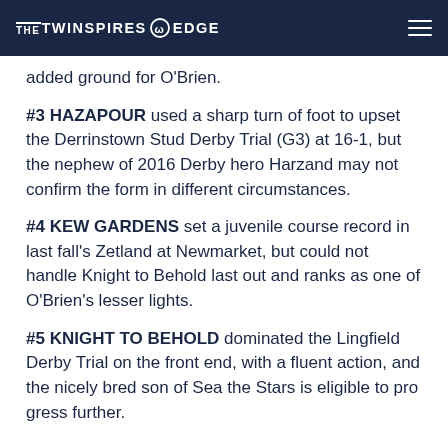THE TWINSPIRES EDGE
added ground for O'Brien.
#3 HAZAPOUR used a sharp turn of foot to upset the Derrinstown Stud Derby Trial (G3) at 16-1, but the nephew of 2016 Derby hero Harzand may not confirm the form in different circumstances.
#4 KEW GARDENS set a juvenile course record in last fall's Zetland at Newmarket, but could not handle Knight to Behold last out and ranks as one of O'Brien's lesser lights.
#5 KNIGHT TO BEHOLD dominated the Lingfield Derby Trial on the front end, with a fluent action, and the nicely bred son of Sea the Stars is eligible to progress further.